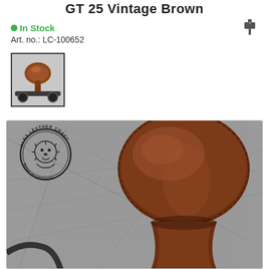GT 25 Vintage Brown
● In Stock
Art. no.: LC-100652
[Figure (photo): Thumbnail photo of a vintage brown motorcycle solo seat (GT 25) mounted on a motorcycle, small preview image with dark border]
[Figure (photo): Large main product photo: close-up of a vintage brown leather motorcycle solo seat on a scratched metallic surface, with Alex Leather Craft Made in Germany lion logo stamp in top left corner]